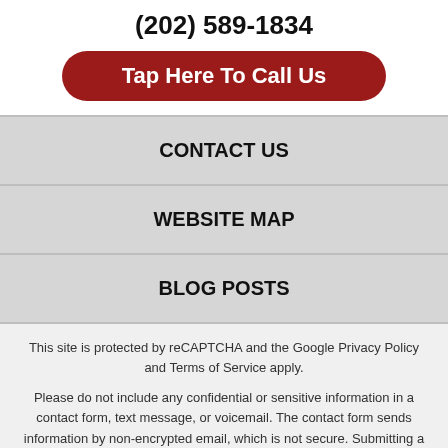(202) 589-1834
Tap Here To Call Us
CONTACT US
WEBSITE MAP
BLOG POSTS
This site is protected by reCAPTCHA and the Google Privacy Policy and Terms of Service apply.
Please do not include any confidential or sensitive information in a contact form, text message, or voicemail. The contact form sends information by non-encrypted email, which is not secure. Submitting a contact form, sending a text message, making a phone call, or leaving a voicemail does not create an attorney-client relationship.